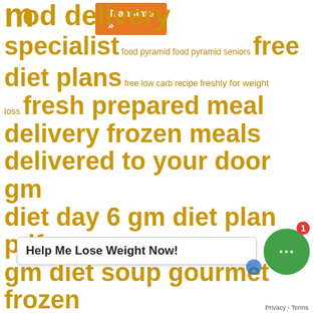meal food delivery specialist food pyramid food pyramid seniors free diet plans free low carb recipe freshly for weight loss fresh prepared meal delivery frozen meals delivered to your door gm diet day 6 gm diet plan pdf gm diet soup gourmet frozen food delivery grab food delivery malaysia grade 1 healthy eating worksheets grade 2 healthy eating worksheets grade 3 healthy eating worksheets grade 4 healthy eating lesson plans grade 5 healthy eating activities grade 5 healthy eating worksheets grade 5 nutrition labels
[Figure (other): Orange Translate button overlay]
[Figure (other): Help Me Lose Weight Now! chat banner with green chat bubble and red badge showing 1]
Privacy - Terms